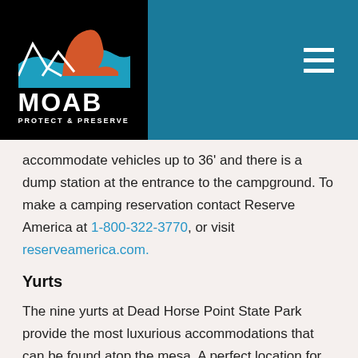[Figure (logo): Moab Protect & Preserve logo with mountain/arch graphic on black background]
accommodate vehicles up to 36' and there is a dump station at the entrance to the campground. To make a camping reservation contact Reserve America at 1-800-322-3770, or visit reserveamerica.com.
Yurts
The nine yurts at Dead Horse Point State Park provide the most luxurious accommodations that can be found atop the mesa. A perfect location for experiencing sunrise and sunset, the yurts enjoy sweeping views of both the canyons to the south and the La Sal mountains to the east. A private spur of the Intrepid Trail System gives easy access to the otherwise remote Big Chief and Pyramid Canyon overlooks. Each yurt contains sleeping space for